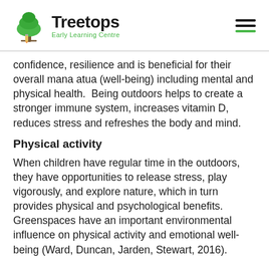Treetops Early Learning Centre
confidence, resilience and is beneficial for their overall mana atua (well-being) including mental and physical health.  Being outdoors helps to create a stronger immune system, increases vitamin D, reduces stress and refreshes the body and mind.
Physical activity
When children have regular time in the outdoors, they have opportunities to release stress, play vigorously, and explore nature, which in turn provides physical and psychological benefits. Greenspaces have an important environmental influence on physical activity and emotional well-being (Ward, Duncan, Jarden, Stewart, 2016).